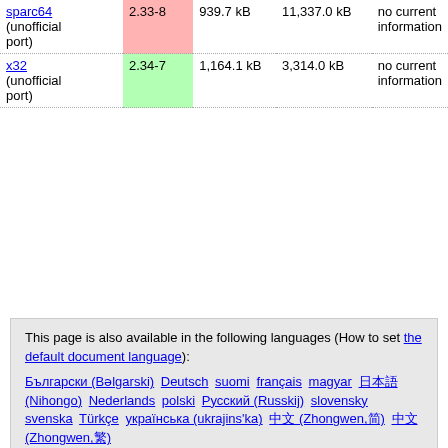| Architecture | Version | Package Size | Installed Size | Files |
| --- | --- | --- | --- | --- |
| sparc64 (unofficial port) | 2.33-8 | 939.7 kB | 11,337.0 kB | no current information |
| x32 (unofficial port) | 2.34-7 | 1,164.1 kB | 3,314.0 kB | no current information |
This page is also available in the following languages (How to set the default document language):
Български (Bəlgarski) Deutsch suomi français magyar 日本語 (Nihongo) Nederlands polski Русский (Russkij) slovensky svenska Türkçe українська (ukrajins'ka) 中文 (Zhongwen,简) 中文 (Zhongwen,繁)
To report a problem with the web site, e-mail debian-www@lists.debian.org. For other contact information, see the Debian contact page.
Content Copyright © 1997 - 2022 SPI Inc.; See license terms. Debian is a trademark of SPI Inc. Learn more about this site.
This service is sponsored by 1&1 Internet AG.